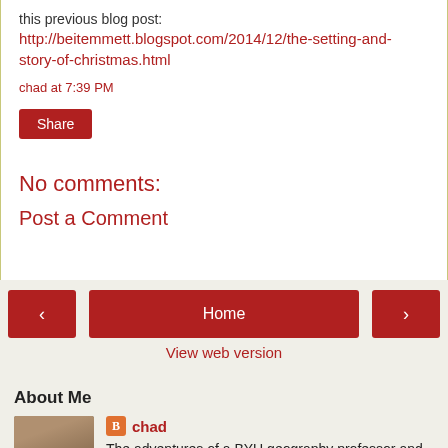this previous blog post: http://beitemmett.blogspot.com/2014/12/the-setting-and-story-of-christmas.html
chad at 7:39 PM
Share
No comments:
Post a Comment
Home
View web version
About Me
[Figure (photo): Profile photo of chad, a man standing near stone architecture]
chad
The adventures of a BYU geography professor and